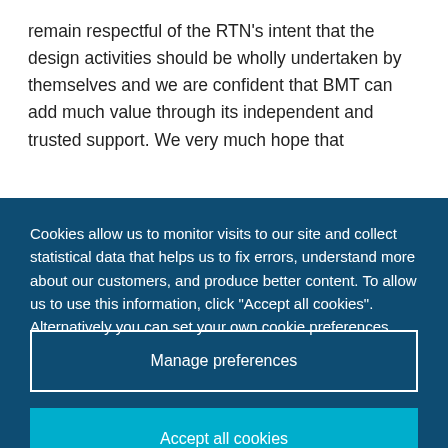remain respectful of the RTN's intent that the design activities should be wholly undertaken by themselves and we are confident that BMT can add much value through its independent and trusted support.  We very much hope that
Cookies allow us to monitor visits to our site and collect statistical data that helps us to fix errors, understand more about our customers, and produce better content. To allow us to use this information, click "Accept all cookies". Alternatively you can set your own cookie preferences.
Manage preferences
Accept all cookies